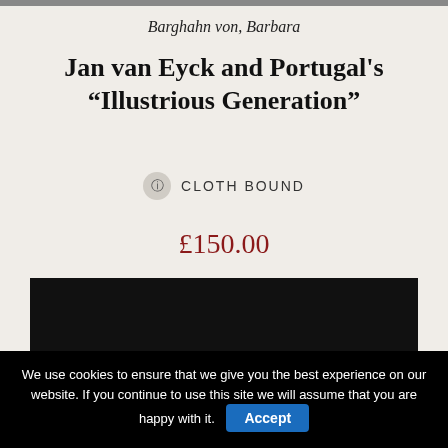Barghahn von, Barbara
Jan van Eyck and Portugal's “Illustrious Generation”
CLOTH BOUND
£150.00
Add to basket
[Figure (photo): Partially visible dark book cover image at the top and bottom of the page]
We use cookies to ensure that we give you the best experience on our website. If you continue to use this site we will assume that you are happy with it.